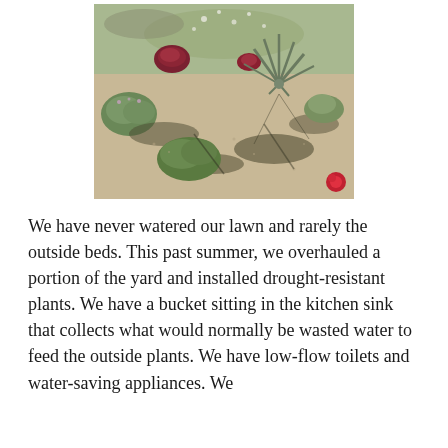[Figure (photo): Overhead/angled view of a drought-resistant garden with gravel ground cover, various low-water plants including ornamental grasses, succulents, and flowering shrubs with red/purple blooms.]
We have never watered our lawn and rarely the outside beds. This past summer, we overhauled a portion of the yard and installed drought-resistant plants. We have a bucket sitting in the kitchen sink that collects what would normally be wasted water to feed the outside plants. We have low-flow toilets and water-saving appliances. We